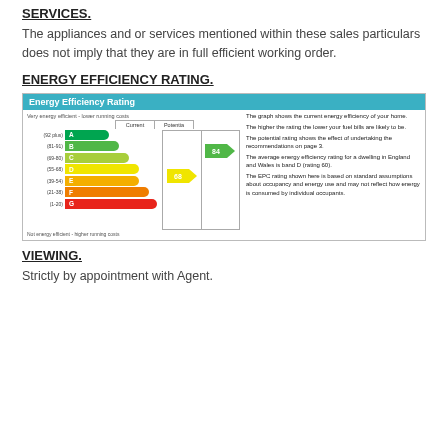SERVICES.
The appliances and or services mentioned within these sales particulars does not imply that they are in full efficient working order.
ENERGY EFFICIENCY RATING.
[Figure (infographic): Energy Efficiency Rating EPC chart showing current rating of 68 (band D) and potential rating of 84 (band B), with colour-coded bands from A (92 plus, green) to G (1-20, red). Right side text explains the graph.]
VIEWING.
Strictly by appointment with Agent.